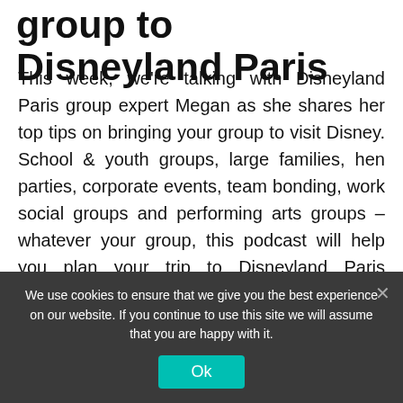group to Disneyland Paris
This week, we're talking with Disneyland Paris group expert Megan as she shares her top tips on bringing your group to visit Disney. School & youth groups, large families, hen parties, corporate events, team bonding, work social groups and performing arts groups – whatever your group, this podcast will help you plan your trip to Disneyland Paris Amanda and Martin, your Disney travel experts, chat with Disneyland Paris groups expert Megan and answer your questions including: How many people do you need for a Disneyland Paris group? Is a group of
We use cookies to ensure that we give you the best experience on our website. If you continue to use this site we will assume that you are happy with it.